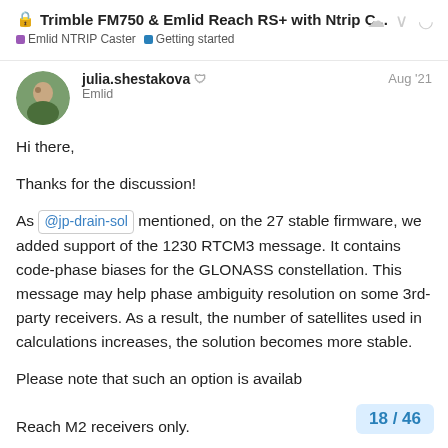🔒 Trimble FM750 & Emlid Reach RS+ with Ntrip C...
Emlid NTRIP Caster  Getting started
julia.shestakova  Emlid  Aug '21
Hi there,
Thanks for the discussion!
As @jp-drain-sol mentioned, on the 27 stable firmware, we added support of the 1230 RTCM3 message. It contains code-phase biases for the GLONASS constellation. This message may help phase ambiguity resolution on some 3rd-party receivers. As a result, the number of satellites used in calculations increases, the solution becomes more stable.
Please note that such an option is available for Reach RS2 and Reach M2 receivers only.
18 / 46